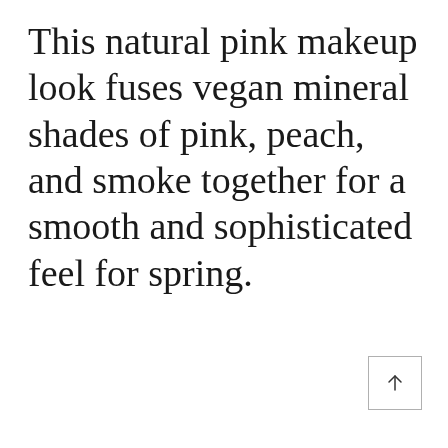This natural pink makeup look fuses vegan mineral shades of pink, peach, and smoke together for a smooth and sophisticated feel for spring.
[Figure (other): A small square button with an upward arrow icon, used for scrolling to the top of the page.]